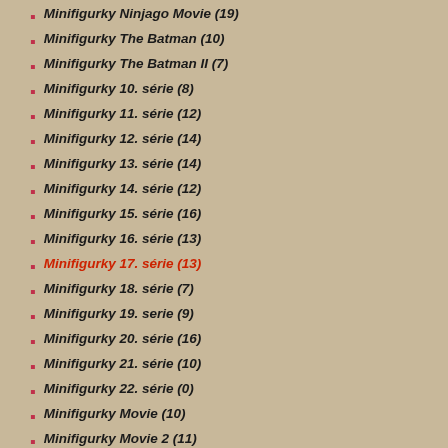Minifigurky Ninjago Movie (19)
Minifigurky The Batman (10)
Minifigurky The Batman II (7)
Minifigurky 10. série (8)
Minifigurky 11. série (12)
Minifigurky 12. série (14)
Minifigurky 13. série (14)
Minifigurky 14. série (12)
Minifigurky 15. série (16)
Minifigurky 16. série (13)
Minifigurky 17. série (13)
Minifigurky 18. série (7)
Minifigurky 19. serie (9)
Minifigurky 20. série (16)
Minifigurky 21. série (10)
Minifigurky 22. série (0)
Minifigurky Movie (10)
Minifigurky Movie 2 (11)
[Figure (photo): LEGO minifigure wearing pink/magenta jacket with H2O badge, yellow head, colorful accessories, on white background]